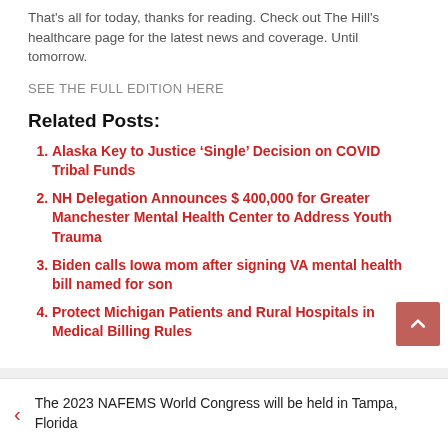That's all for today, thanks for reading. Check out The Hill's healthcare page for the latest news and coverage. Until tomorrow.
SEE THE FULL EDITION HERE
Related Posts:
Alaska Key to Justice ‘Single’ Decision on COVID Tribal Funds
NH Delegation Announces $ 400,000 for Greater Manchester Mental Health Center to Address Youth Trauma
Biden calls Iowa mom after signing VA mental health bill named for son
Protect Michigan Patients and Rural Hospitals in Medical Billing Rules
The 2023 NAFEMS World Congress will be held in Tampa, Florida